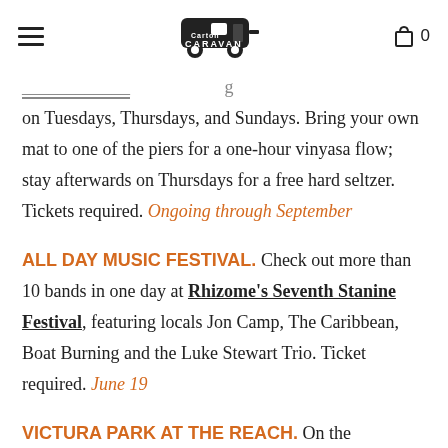Caravan [logo]  0
on Tuesdays, Thursdays, and Sundays. Bring your own mat to one of the piers for a one-hour vinyasa flow; stay afterwards on Thursdays for a free hard seltzer. Tickets required. Ongoing through September
ALL DAY MUSIC FESTIVAL. Check out more than 10 bands in one day at Rhizome's Seventh Stanine Festival, featuring locals Jon Camp, The Caribbean, Boat Burning and the Luke Stewart Trio. Ticket required. June 19
VICTURA PARK AT THE REACH. On the weekends,